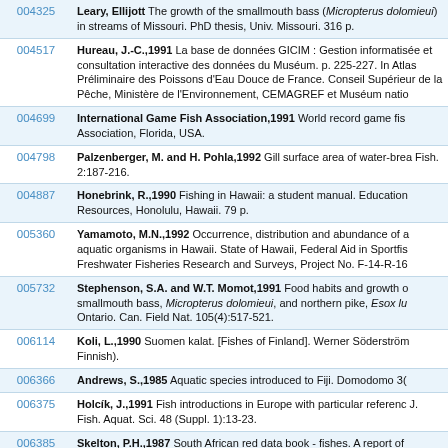| ID | Reference |
| --- | --- |
| 004325 | Leary, Ellijott The growth of the smallmouth bass (Micropterus dolomieui) in streams of Missouri. PhD thesis, Univ. Missouri. 316 p. |
| 004517 | Hureau, J.-C.,1991 La base de données GICIM : Gestion informatisée et consultation interactive des données du Muséum. p. 225-227. In Atlas Préliminaire des Poissons d'Eau Douce de France. Conseil Supérieur de la Pêche, Ministère de l'Environnement, CEMAGREF et Muséum national d'Histoire naturelle, Paris. |
| 004699 | International Game Fish Association,1991 World record game fishes. International Game Fish Association, Florida, USA. |
| 004798 | Palzenberger, M. and H. Pohla,1992 Gill surface area of water-breathing freshwater fish. Rev. Fish Biol. Fish. 2:187-216. |
| 004887 | Honebrink, R.,1990 Fishing in Hawaii: a student manual. Education Program, Division of Aquatic Resources, Honolulu, Hawaii. 79 p. |
| 005360 | Yamamoto, M.N.,1992 Occurrence, distribution and abundance of acoustically detected aquatic organisms in Hawaii. State of Hawaii, Federal Aid in Sportfish Restoration, Dingell-Johnson JOB Reports, Freshwater Fisheries Research and Surveys, Project No. F-14-R-16. |
| 005732 | Stephenson, S.A. and W.T. Momot,1991 Food habits and growth of the walleye, Stizostedion vitreum, smallmouth bass, Micropterus dolomieui, and northern pike, Esox lucius in the Kaministikwia River, Ontario. Can. Field Nat. 105(4):517-521. |
| 006114 | Koli, L.,1990 Suomen kalat. [Fishes of Finland]. Werner Söderström Osakeyhtiö. Helsinki. 357 p. (in Finnish). |
| 006366 | Andrews, S.,1985 Aquatic species introduced to Fiji. Domodomo 3(2):67-82. |
| 006375 | Holcík, J.,1991 Fish introductions in Europe with particular reference to its central and eastern part. Can. J. Fish. Aquat. Sci. 48 (Suppl. 1):13-23. |
| 006385 | Skelton, P.H.,1987 South African red data book - fishes. A report of the Council for Scientific and Industrial Research, Conservation Research National Programme for Ecosystem Research. South African National Scientific Programmes Rep. 137:206 p. |
| 007248 | Skelton, P.H.,1993 A complete guide to the freshwater fishes of southern Africa. Southern Book Publishers. 388 p. |